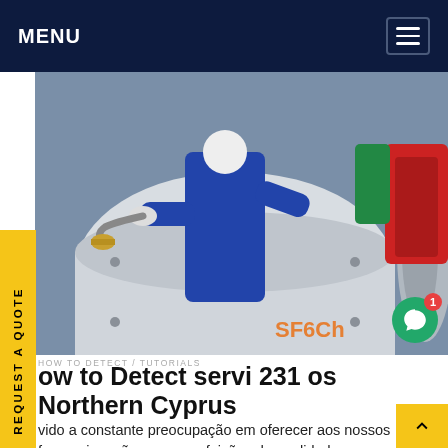MENU
[Figure (photo): A technician in a blue coverall and white gloves connecting a hose fitting to industrial equipment (large cylindrical tank/valve), with red and green equipment visible in the background. Orange 'SF6Ch' watermark text visible in lower right.]
How to Detect servi 231 os Northern Cyprus
vido a constante preocupação em oferecer aos nossos freguesias, não apenas refeições de qualidade, mas em colocar amor e dedicação nos serviços oferecidos, bem como no contato com cada frequês, evidenciando sempre a importância